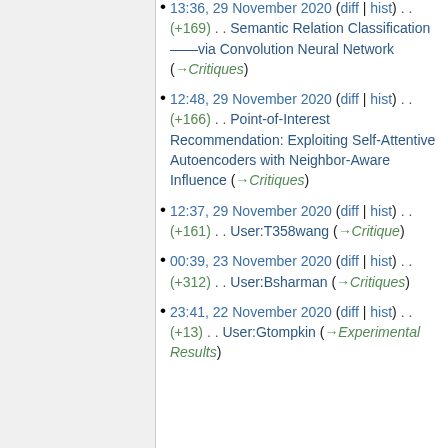13:36, 29 November 2020 (diff | hist) . . (+169) . . Semantic Relation Classification——via Convolution Neural Network (→Critiques)
12:48, 29 November 2020 (diff | hist) . . (+166) . . Point-of-Interest Recommendation: Exploiting Self-Attentive Autoencoders with Neighbor-Aware Influence (→Critiques)
12:37, 29 November 2020 (diff | hist) . . (+161) . . User:T358wang (→Critique)
00:39, 23 November 2020 (diff | hist) . . (+312) . . User:Bsharman (→Critiques)
23:41, 22 November 2020 (diff | hist) . . (+13) . . User:Gtompkin (→Experimental Results)